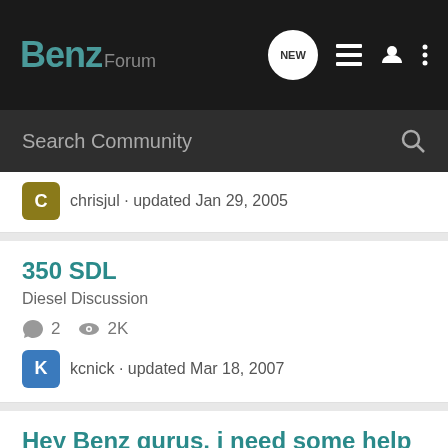BenzForum
Search Community
chrisjul · updated Jan 29, 2005
350 SDL
Diesel Discussion
2  2K
kcnick · updated Mar 18, 2007
Hey Benz gurus, i need some help
DIY/Tech Help
2  2K
elwesso · updated Mar 10, 2003